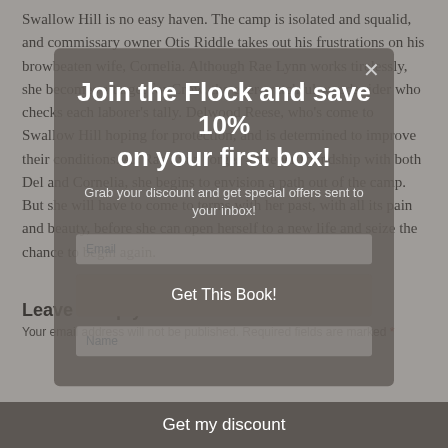Swallow Hill is no easy haven. The camp is isolated and squalid, and commissary owner Otis Riddle takes out his frustrations on his browbeaten wife, Cornelia. Although Rae Lynn works tirelessly, she becomes a target for Crow, the ever-watchful woods rider who checks each laborer's tally. Delwood Reese, who's come to Swallow Hill hoping for protection, and is determined to improve their conditions. As Rae Lynn forges a deeper friendship with both Del and Cornelia, she begins to envision a path out of the camp. But she will have to come to terms with her past, with all its pain and beauty, before she can open herself to a new life and seize the chance to begin again.
[Figure (other): Modal popup overlay with 'Join the Flock and save 10% on your first box!' heading, subtitle text 'Grab your discount and get special offers sent to your inbox!', email input field, Name input field, and 'Get This Book!' button. Close button (x) in top right corner.]
Leave a Reply
Your email address will not be published. Required fields are marked *
[Figure (other): Bottom bar with 'Get my discount' text]